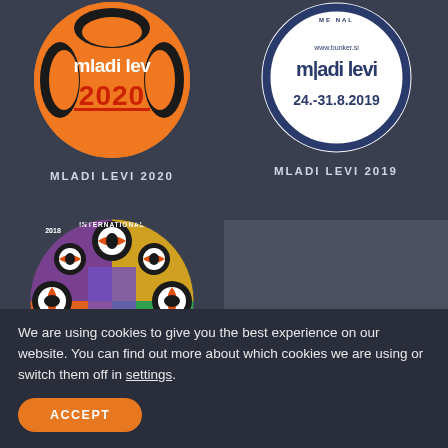[Figure (logo): Mladi Levi 2020 orange circle festival logo with black mask graphic and red 2020 text]
MLADI LEVI 2020
[Figure (logo): Mladi Levi 2019 white circle logo with www.bunker.si text and date 24.-31.8.2019]
MLADI LEVI 2019
[Figure (logo): Mladi Levi 2018 circular collage logo with eye motifs and colorful imagery, INTERNATIONAL text visible]
We are using cookies to give you the best experience on our website. You can find out more about which cookies we are using or switch them off in settings.
ACCEPT